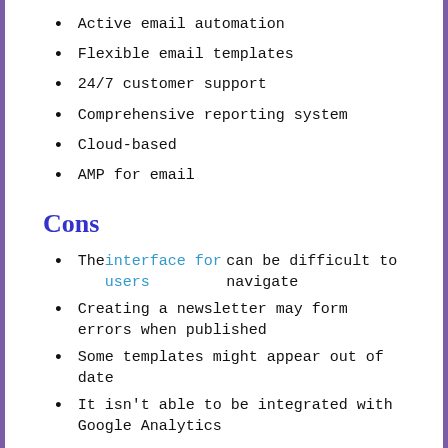Active email automation
Flexible email templates
24/7 customer support
Comprehensive reporting system
Cloud-based
AMP for email
Cons
The interface for users can be difficult to navigate
Creating a newsletter may form errors when published
Some templates might appear out of date
It isn't able to be integrated with Google Analytics
Aweber Features
Aweber provides an email-based marketing service for businesses and individuals. It allows users to create campaigns